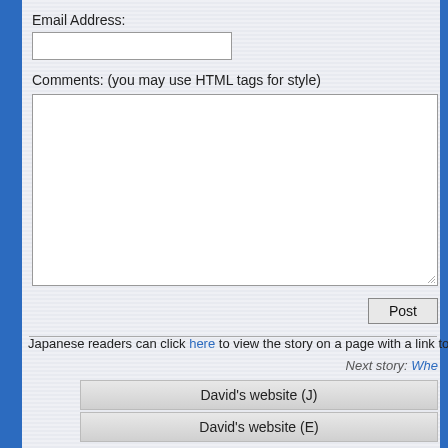Email Address:
Comments: (you may use HTML tags for style)
Post
Japanese readers can click here to view the story on a page with a link to
Next story: Whe...
David's website (J)
David's website (E)
Contact Dave